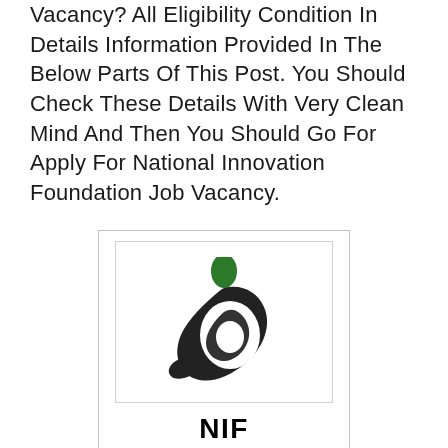Vacancy? All Eligibility Condition In Details Information Provided In The Below Parts Of This Post. You Should Check These Details With Very Clean Mind And Then You Should Go For Apply For National Innovation Foundation Job Vacancy.
[Figure (logo): National Innovation Foundation (NIF) logo inside a bordered box. The logo shows an abstract swirl/leaf shape in black ink with a green oval dot at the top, bold text 'NIF' below the graphic, a gold horizontal divider line, and text 'National Innovation Foundation-India' at the bottom.]